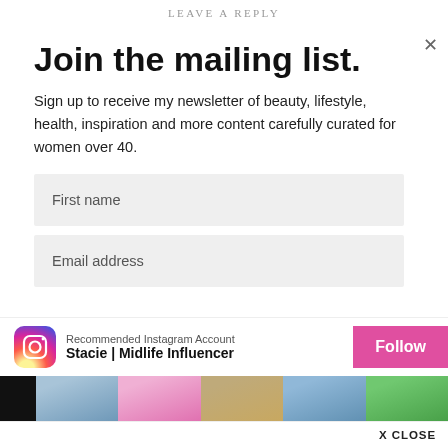LEAVE A REPLY
Join the mailing list.
Sign up to receive my newsletter of beauty, lifestyle, health, inspiration and more content carefully curated for women over 40.
First name
Email address
Recommended Instagram Account
Stacie | Midlife Influencer
[Figure (screenshot): Instagram recommendation banner with profile photos strip and Follow button. Shows 'Recommended Instagram Account' and 'Stacie | Midlife Influencer' with a pink Follow button and a strip of lifestyle photos at the bottom.]
X CLOSE